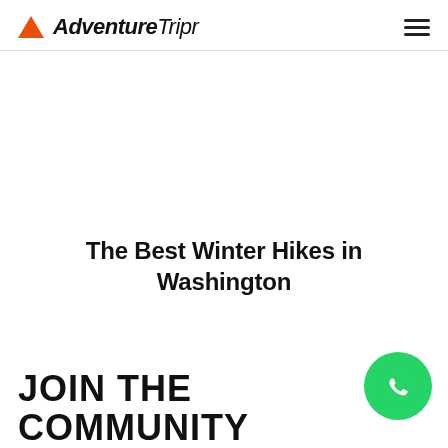Adventure Tripr
The Best Winter Hikes in Washington
JOIN THE COMMUNITY
[Figure (logo): WhatsApp contact button, green circle with phone handset icon]